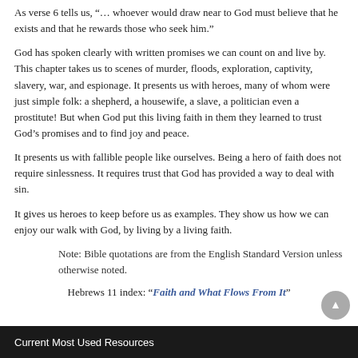As verse 6 tells us, “… whoever would draw near to God must believe that he exists and that he rewards those who seek him.”
God has spoken clearly with written promises we can count on and live by. This chapter takes us to scenes of murder, floods, exploration, captivity, slavery, war, and espionage. It presents us with heroes, many of whom were just simple folk: a shepherd, a housewife, a slave, a politician even a prostitute! But when God put this living faith in them they learned to trust God’s promises and to find joy and peace.
It presents us with fallible people like ourselves. Being a hero of faith does not require sinlessness. It requires trust that God has provided a way to deal with sin.
It gives us heroes to keep before us as examples. They show us how we can enjoy our walk with God, by living by a living faith.
Note: Bible quotations are from the English Standard Version unless otherwise noted.
Hebrews 11 index: “Faith and What Flows From It”
Current Most Used Resources